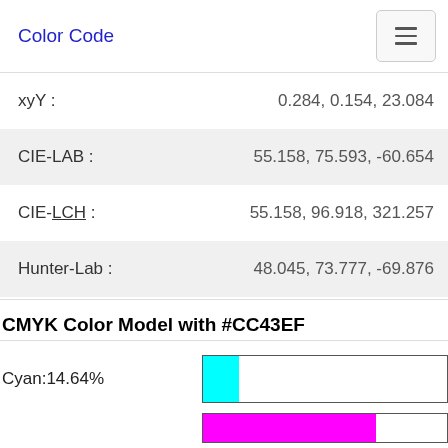Color Code
| Property | Value |
| --- | --- |
| xyY : | 0.284, 0.154, 23.084 |
| CIE-LAB : | 55.158, 75.593, -60.654 |
| CIE-LCH : | 55.158, 96.918, 321.257 |
| Hunter-Lab : | 48.045, 73.777, -69.876 |
CMYK Color Model with #CC43EF
Cyan: 14.64%
Magenta (partial visible)